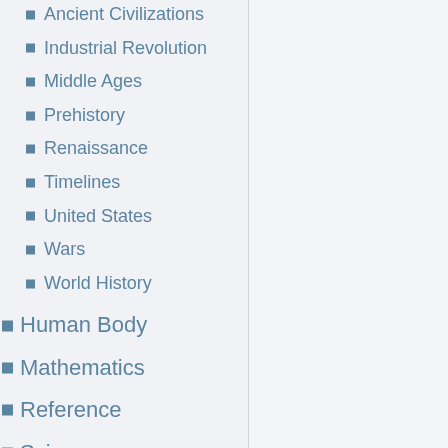Ancient Civilizations
Industrial Revolution
Middle Ages
Prehistory
Renaissance
Timelines
United States
Wars
World History
Human Body
Mathematics
Reference
Science
Animals
Aviation
Dinosaurs
Earth
Inventions